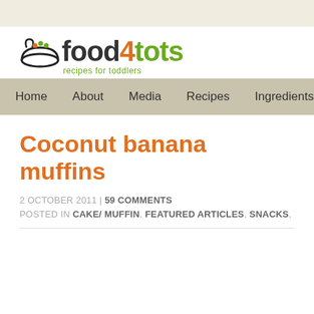[Figure (logo): food4tots logo with bowl icon and tagline 'recipes for toddlers']
Home | About | Media | Recipes | Ingredients
Coconut banana muffins
2 OCTOBER 2011 | 59 COMMENTS
POSTED IN CAKE/ MUFFIN, FEATURED ARTICLES, SNACKS, VEGETARIAN